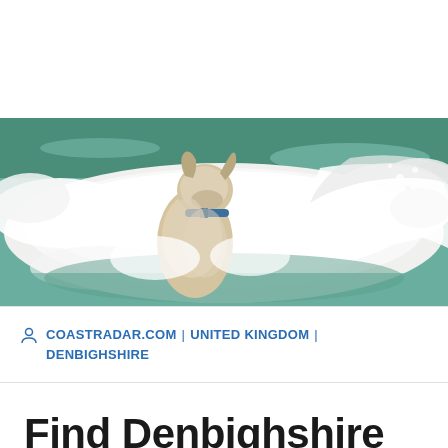[Figure (photo): A dog wearing a blue collar standing in ocean waves, viewed from behind, with white foam and crashing surf surrounding it.]
COASTRADAR.COM | UNITED KINGDOM | DENBIGHSHIRE
Find Denbighshire Dog